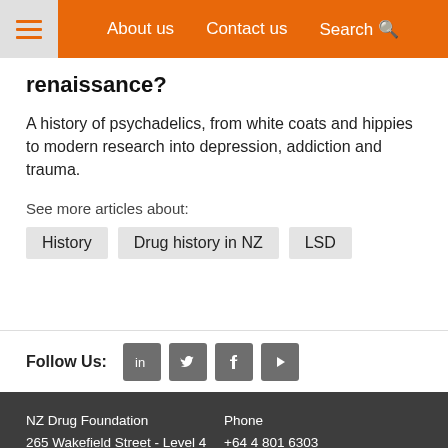About us   Contact us   Search
renaissance?
A history of psychadelics, from white coats and hippies to modern research into depression, addiction and trauma.
See more articles about:
History
Drug history in NZ
LSD
Follow Us:
NZ Drug Foundation
265 Wakefield Street - Level 4
Wellington 6011

Phone
+64 4 801 6303